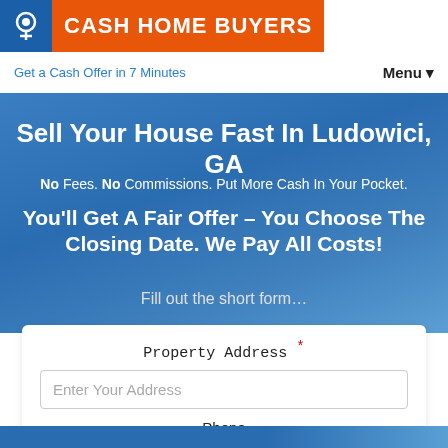[Figure (logo): Cash Home Buyers logo: blue icon on left, orange banner with white text 'CASH HOME BUYERS']
Get a Cash Offer in 7 Minutes    Menu▾
Sell Your House Fast In Ludowici, GA
No Fees. No Commissions. Put More Cash In Your Pocket.
You'll Get A Fair Offer – You Choose The Closing Date. We Pay All Costs!
Fill out the short form…
Property Address *
Enter Your Address
Phone